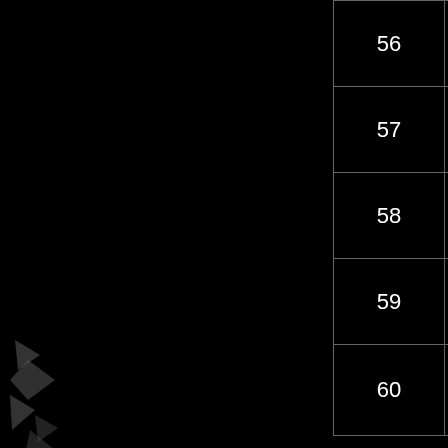| # | Name | Status |
| --- | --- | --- |
| 56 | Residuum | solved |
| 57 | Math Machine Basic | solved |
| 58 | Alternation | solved |
| 59 | Investigative Points | solved |
| 60 | Shady Dealings Accordance | solved |